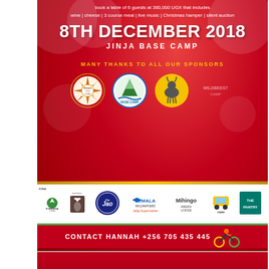[Figure (infographic): Christmas charity dinner event flyer with red background, showing date 8TH DECEMBER 2018 at JINJA BASE CAMP, sponsor logos including Base Camp, goat logo, mandala logo, and contact information CONTACT HANNAH +256 705 435 445. Bottom section shows a red Christmas banner with tree and lights decorations.]
book a table of 6 guests at 360,000 UGX that includes
wine | cheese | 3 course meal | live music | Christmas hamper | silent auction
8TH DECEMBER 2018
JINJA BASE CAMP
MANY THANKS TO ALL OUR SPONSORS
CONTACT HANNAH +256 705 435 445